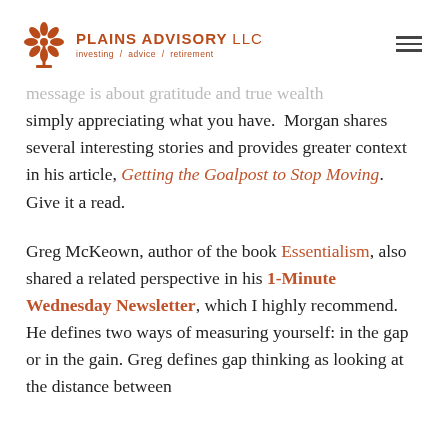PLAINS ADVISORY LLC investing / advice / retirement
message is about gratitude and true wealth simply appreciating what you have. Morgan shares several interesting stories and provides greater context in his article, Getting the Goalpost to Stop Moving. Give it a read.
Greg McKeown, author of the book Essentialism, also shared a related perspective in his 1-Minute Wednesday Newsletter, which I highly recommend. He defines two ways of measuring yourself: in the gap or in the gain. Greg defines gap thinking as looking at the distance between